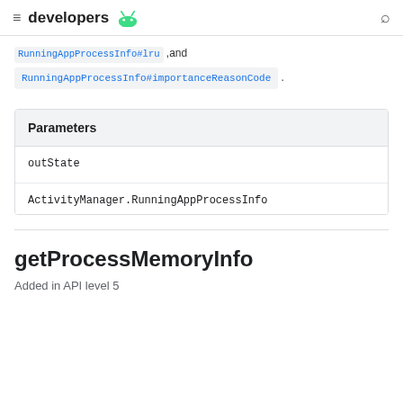developers
RunningAppProcessInfo#lru, and RunningAppProcessInfo#importanceReasonCode.
| Parameters |
| --- |
| outState |  |
| ActivityManager.RunningAppProcessInfo |  |
getProcessMemoryInfo
Added in API level 5